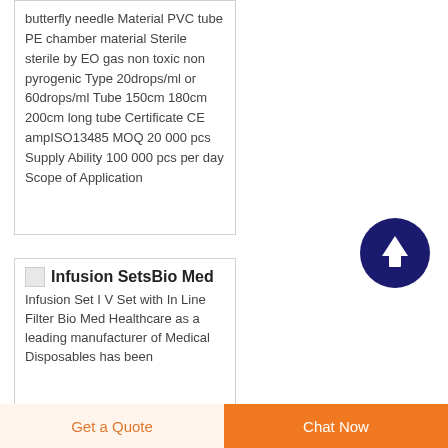butterfly needle Material PVC tube PE chamber material Sterile sterile by EO gas non toxic non pyrogenic Type 20drops/ml or 60drops/ml Tube 150cm 180cm 200cm long tube Certificate CE ampISO13485 MOQ 20 000 pcs Supply Ability 100 000 pcs per day Scope of Application
[Figure (other): Scroll to top circular button with dark navy blue background and white upward arrow]
[Figure (photo): Small product thumbnail image for Infusion Sets]
Infusion SetsBio Med
Infusion Set I V Set with In Line Filter Bio Med Healthcare as a leading manufacturer of Medical Disposables has been
Get a Quote | Chat Now